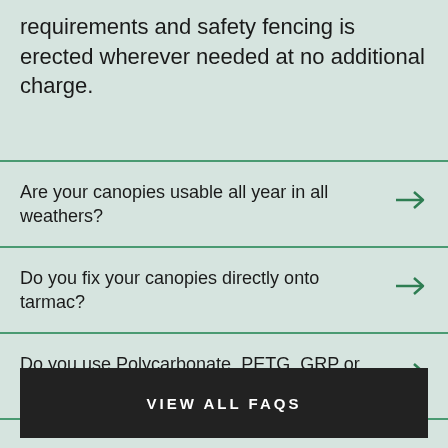requirements and safety fencing is erected wherever needed at no additional charge.
Are your canopies usable all year in all weathers?
Do you fix your canopies directly onto tarmac?
Do you use Polycarbonate, PETG, GRP or Acrylic for non fabric cladding?
VIEW ALL FAQS